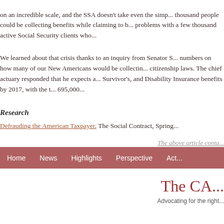on an incredible scale, and the SSA doesn't take even the simple steps. A thousand people could be collecting benefits while claiming to be... problems with a few thousand active Social Security clients who...
We learned about that crisis thanks to an inquiry from Senator S... numbers on how many of our New Americans would be collecting... citizenship laws. The chief actuary responded that he expects a... Survivor's, and Disability Insurance benefits by 2017, with the t... 695,000...
Research
Defrauding the American Taxpayer, The Social Contract, Spring...
The above article conta...
Home   News   Highlights   Perspective   Act...
The CA...
Advocating for the right...